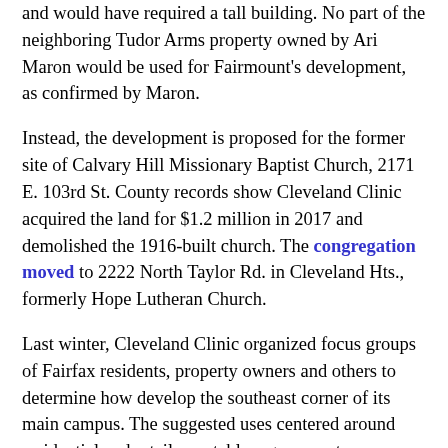and would have required a tall building. No part of the neighboring Tudor Arms property owned by Ari Maron would be used for Fairmount's development, as confirmed by Maron.
Instead, the development is proposed for the former site of Calvary Hill Missionary Baptist Church, 2171 E. 103rd St. County records show Cleveland Clinic acquired the land for $1.2 million in 2017 and demolished the 1916-built church. The congregation moved to 2222 North Taylor Rd. in Cleveland Hts., formerly Hope Lutheran Church.
Last winter, Cleveland Clinic organized focus groups of Fairfax residents, property owners and others to determine how develop the southeast corner of its main campus. The suggested uses centered around residential and retail -- notably a grocery store.
“Now that the northern section of Opportunity Corridor is open, we plan to further develop the southeast part of our campus,” said the Cleveland Clinic’s media relations department to NEOtrans last March. “We look forward to working with our community partners on future opportunities